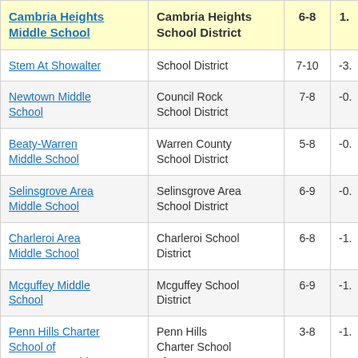| School | District | Grades | Score |
| --- | --- | --- | --- |
| Cambria Heights Middle School | Cambria Heights School District | 6-8 | 1. |
| Stem At Showalter | School District | 7-10 | -3. |
| Newtown Middle School | Council Rock School District | 7-8 | -0. |
| Beaty-Warren Middle School | Warren County School District | 5-8 | -0. |
| Selinsgrove Area Middle School | Selinsgrove Area School District | 6-9 | -0. |
| Charleroi Area Middle School | Charleroi School District | 6-8 | -1. |
| Mcguffey Middle School | Mcguffey School District | 6-9 | -1. |
| Penn Hills Charter School of Entrepreneurship | Penn Hills Charter School of Entrepreneurship | 3-8 | -1. |